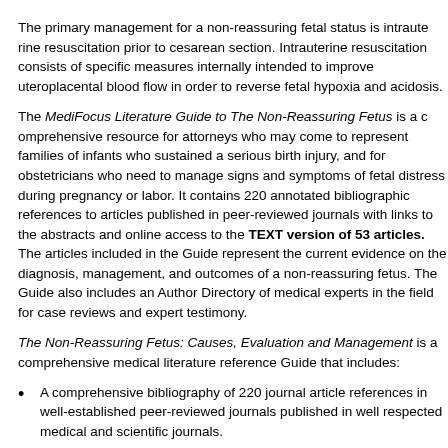The primary management for a non-reassuring fetal status is intrauterine resuscitation prior to cesarean section. Intrauterine resuscitation consists of specific measures intended to improve uteroplacental blood flow in order to reverse fetal hypoxia and acidosis.
The MediFocus Literature Guide to The Non-Reassuring Fetus is a comprehensive resource for attorneys who may come to represent families of infants who sustained a serious birth injury, and for obstetricians who need to manage signs and symptoms of fetal distress during pregnancy or labor. It contains 220 annotated bibliographic references to articles published in peer-reviewed journals with links to the abstracts and online access to the FREE FULL-TEXT version of 53 articles. The articles included in the Guide represent the current evidence on the diagnosis, management, and outcomes of a non-reassuring fetus. The Guide also includes an Author Directory of medical experts in the field for case reviews and expert testimony.
The Non-Reassuring Fetus: Causes, Evaluation and Management is a comprehensive medical literature reference Guide that includes:
A comprehensive bibliography of 220 journal article references in PubMed, the majority of which were published in well respected medical and scientific journals.
Online access to the abstracts (summaries) of the articles.
Online access to the free full-text version of 53 articles.
Links to full-text sources of other articles that are available for purchase directly from individual journal publishers.
A unique “Author Directory” consisting of the names and institutions of medical experts who have published and have specialized knowledge about The Non-Reassuring Fetus: Causes, Evaluation and Management. The “Author Directory” is